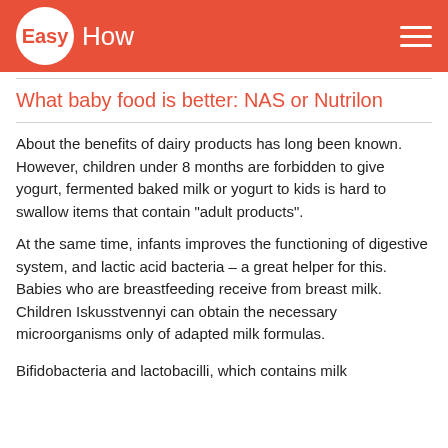Easy How
What baby food is better: NAS or Nutrilon
About the benefits of dairy products has long been known. However, children under 8 months are forbidden to give yogurt, fermented baked milk or yogurt to kids is hard to swallow items that contain "adult products".
At the same time, infants improves the functioning of digestive system, and lactic acid bacteria – a great helper for this.
Babies who are breastfeeding receive from breast milk. Children Iskusstvennyi can obtain the necessary microorganisms only of adapted milk formulas.
Bifidobacteria and lactobacilli, which contains milk